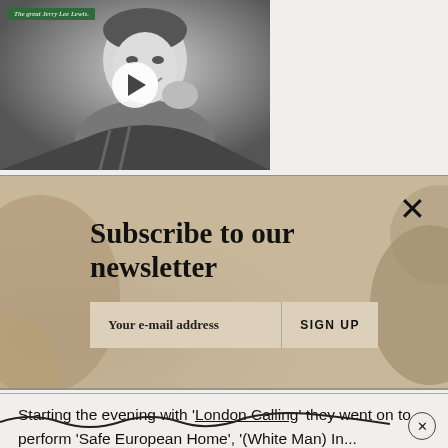[Figure (screenshot): Black and white video thumbnail of Jerry Lee Lewis smiling, with a green label 'The great Jerry Lee Lewis.' at top left and a white play button circle in the center]
[Figure (screenshot): Newsletter subscription banner with beige/tan textured background showing 'Subscribe to our newsletter' heading, an email input field with placeholder 'Your e-mail address', a 'SIGN UP' button, and an X close button]
Starting the evening with 'London Calling' they went on to perform 'Safe European Home', '(White Man) In...